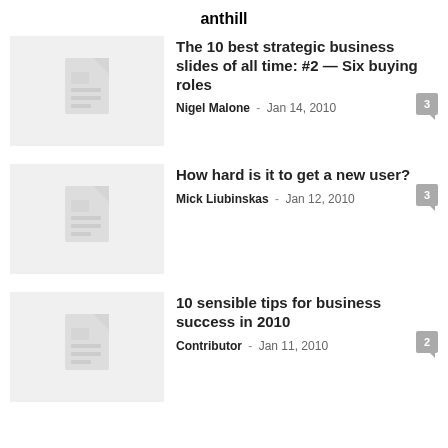anthill
The 10 best strategic business slides of all time: #2 — Six buying roles
Nigel Malone - Jan 14, 2010
How hard is it to get a new user?
Mick Liubinskas - Jan 12, 2010
10 sensible tips for business success in 2010
Contributor - Jan 11, 2010